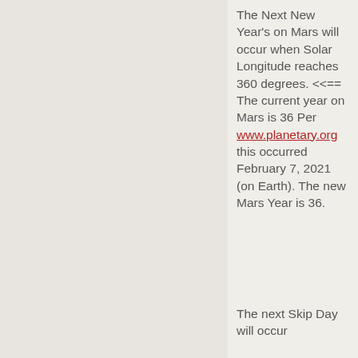The Next New Year's on Mars will occur when Solar Longitude reaches 360 degrees. <<== The current year on Mars is 36 Per www.planetary.org this occurred February 7, 2021 (on Earth). The new Mars Year is 36.
The next Skip Day will occur...